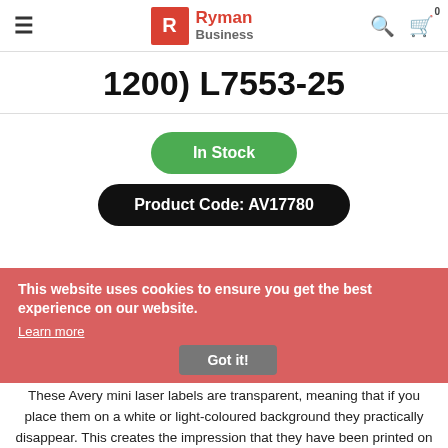Ryman Business
1200) L7553-25
In Stock
Product Code: AV17780
This website uses cookies to ensure you get the best experience on our website. Learn more Got it!
These Avery mini laser labels are transparent, meaning that if you place them on a white or light-coloured background they practically disappear. This creates the impression that they have been printed on individually and leads to a textured and professional label. Avery labels guarantee clarity of print with the labels being compatible with many laser printers and common office software, such as Microsoft Word. This pack contains 1200 labels with 25 sheets and 48 labels on each sheet.